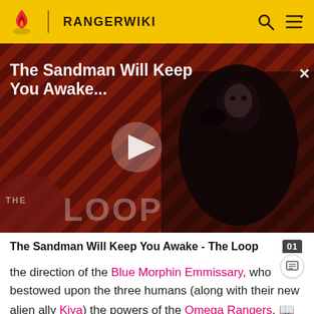RANGERWIKI
[Figure (screenshot): Video thumbnail showing a dark-cloaked figure against a red diagonal striped background, with 'The Sandman Will Keep You Awake...' title overlay, a play button, and 'THE LOOP' watermark at the bottom left.]
The Sandman Will Keep You Awake - The Loop
the direction of the Blue Morphin Emmissary, who bestowed upon the three humans (along with their new alien ally Kiya) the powers of the Omega Rangers.